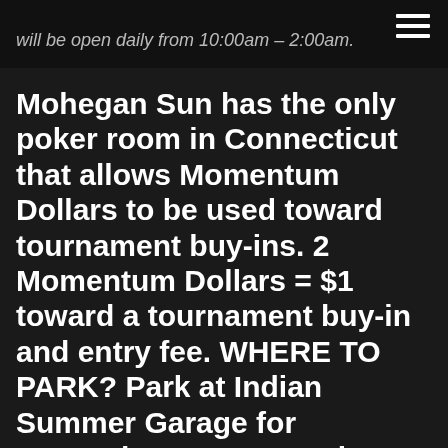will be open daily from 10:00am – 2:00am.
Mohegan Sun has the only poker room in Connecticut that allows Momentum Dollars to be used toward tournament buy-ins. 2 Momentum Dollars = $1 toward a tournament buy-in and entry fee. WHERE TO PARK? Park at Indian Summer Garage for convenient access to the Poker Room. Use the elevator in the middle for the Autumn Entrance.